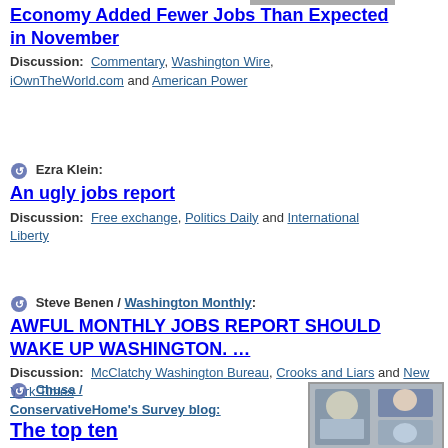[Figure (photo): Small thumbnail image at top of page]
Economy Added Fewer Jobs Than Expected in November
Discussion: Commentary, Washington Wire, iOwnTheWorld.com and American Power
Ezra Klein: An ugly jobs report
Discussion: Free exchange, Politics Daily and International Liberty
Steve Benen / Washington Monthly: AWFUL MONTHLY JOBS REPORT SHOULD WAKE UP WASHINGTON. ...
Discussion: McClatchy Washington Bureau, Crooks and Liars and New York Times
Chusa / ConservativeHome's Survey blog: The top ten
[Figure (photo): Photo of people at bottom right of page]